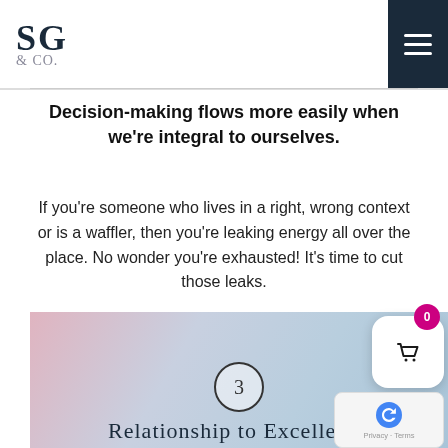[Figure (logo): SG & Co. logo in top left with dark navy text]
[Figure (other): Hamburger menu icon (three horizontal lines) on dark navy background, top right]
Decision-making flows more easily when we're integral to ourselves.
If you're someone who lives in a right, wrong context or is a waffler, then you're leaking energy all over the place. No wonder you're exhausted! It's time to cut those leaks.
[Figure (illustration): Gradient pastel background image (pink, blue, grey tones) with a circled number 3 and partial text starting with 'Relationship to Excellence']